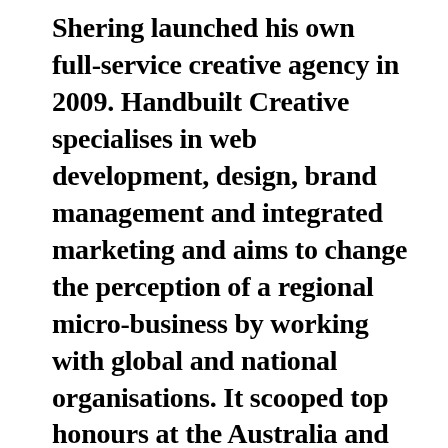Shering launched his own full-service creative agency in 2009. Handbuilt Creative specialises in web development, design, brand management and integrated marketing and aims to change the perception of a regional micro-business by working with global and national organisations. It scooped top honours at the Australia and New Zealand Internet Awards and has won an international Webby Honoree Award. Telstra Judges applauded the business' innovative,